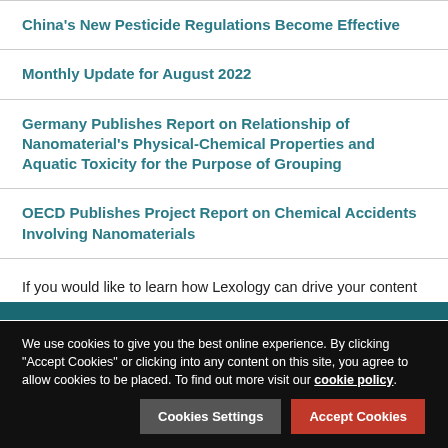China's New Pesticide Regulations Become Effective
Monthly Update for August 2022
Germany Publishes Report on Relationship of Nanomaterial's Physical-Chemical Properties and Aquatic Toxicity for the Purpose of Grouping
OECD Publishes Project Report on Chemical Accidents Involving Nanomaterials
If you would like to learn how Lexology can drive your content marketing strategy forward, please email enquiries@lexology.com.
We use cookies to give you the best online experience. By clicking "Accept Cookies" or clicking into any content on this site, you agree to allow cookies to be placed. To find out more visit our cookie policy.